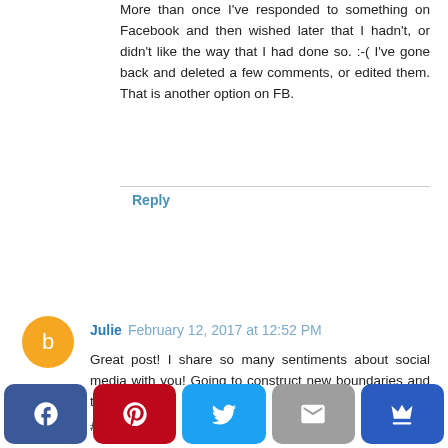More than once I've responded to something on Facebook and then wished later that I hadn't, or didn't like the way that I had done so. :-( I've gone back and deleted a few comments, or edited them. That is another option on FB.
Reply
Julie  February 12, 2017 at 12:52 PM
Great post! I share so many sentiments about social media with you! Going to construct new boundaries and time limits!
#Grace&Truth
Reply
Enter Comment